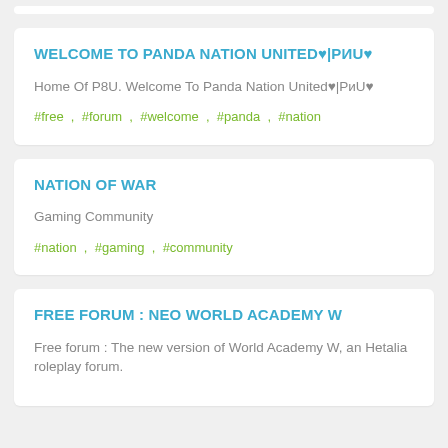WELCOME TO PANDA NATION UNITED♥|PиU♥
Home Of P8U. Welcome To Panda Nation United♥|PиU♥
#free , #forum , #welcome , #panda , #nation
NATION OF WAR
Gaming Community
#nation , #gaming , #community
FREE FORUM : NEO WORLD ACADEMY W
Free forum : The new version of World Academy W, an Hetalia roleplay forum.